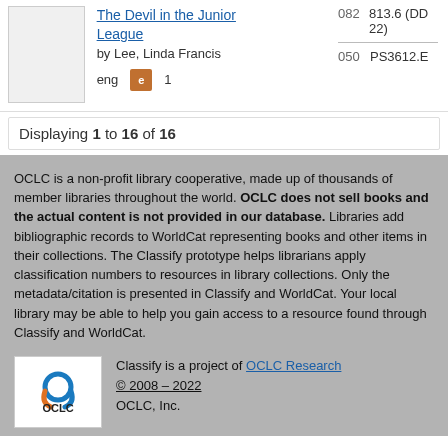The Devil in the Junior League by Lee, Linda Francis — eng — 1 — 082: 813.6 (DD 22) — 050: PS3612.E...
Displaying 1 to 16 of 16
OCLC is a non-profit library cooperative, made up of thousands of member libraries throughout the world. OCLC does not sell books and the actual content is not provided in our database. Libraries add bibliographic records to WorldCat representing books and other items in their collections. The Classify prototype helps librarians apply classification numbers to resources in library collections. Only the metadata/citation is presented in Classify and WorldCat. Your local library may be able to help you gain access to a resource found through Classify and WorldCat.
Classify is a project of OCLC Research
© 2008 – 2022
OCLC, Inc.